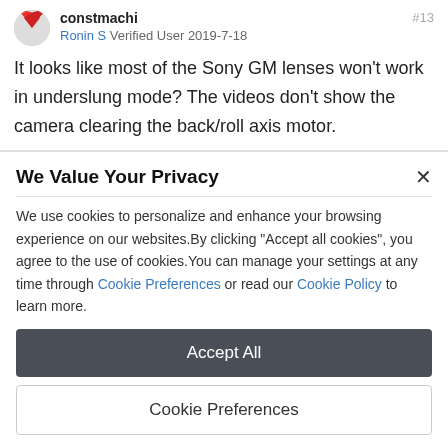constmachi #13 — Ronin S Verified User 2019-7-18
It looks like most of the Sony GM lenses won't work in underslung mode? The videos don't show the camera clearing the back/roll axis motor.
We Value Your Privacy
We use cookies to personalize and enhance your browsing experience on our websites.By clicking "Accept all cookies", you agree to the use of cookies.You can manage your settings at any time through Cookie Preferences or read our Cookie Policy to learn more.
Accept All
Cookie Preferences